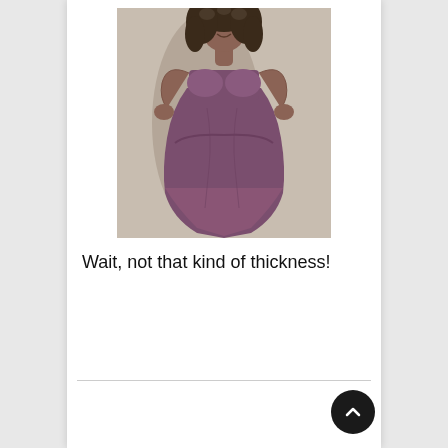[Figure (photo): A woman with curly hair wearing a fitted purple/mauve bodycon dress, posing in what appears to be a mirror selfie or photo taken indoors.]
Wait, not that kind of thickness!